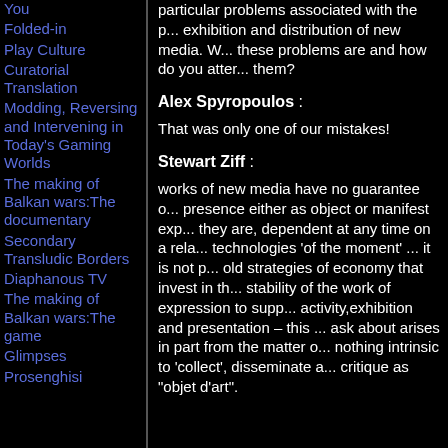You
Folded-in
Play Culture
Curatorial Translation
Modding, Reversing and Intervening in Today's Gaming Worlds
The making of Balkan wars:The documentary
Secondary Transludic Borders
Diaphanous TV
The making of Balkan wars:The game
Glimpses
Prosenghisi
particular problems associated with the exhibition and distribution of new media. What these problems are and how do you attempt them?
Alex Spyropoulos :
That was only one of our mistakes!
Stewart Ziff :
works of new media have no guarantee of presence either as object or manifest exp... they are, dependent at any time on a rela... technologies 'of the moment' ... it is not p... old strategies of economy that invest in th... stability of the work of expression to supp... activity,exhibition and presentation – this ... ask about arises in part from the matter o... nothing intrinsic to 'collect', disseminate a... critique as "objet d'art".